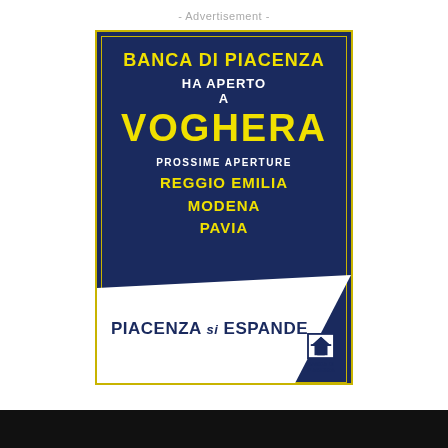- Advertisement -
[Figure (other): Banca di Piacenza advertisement. Dark blue square with yellow border showing bank opening announcement. Text reads: BANCA DI PIACENZA HA APERTO A VOGHERA. PROSSIME APERTURE: REGGIO EMILIA, MODENA, PAVIA. White banner at bottom reads: PIACENZA SI ESPANDE with Banca di Piacenza logo.]